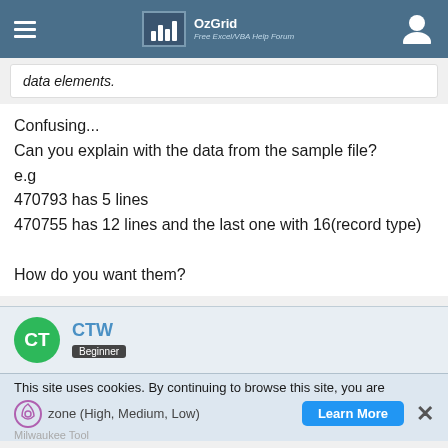OzGrid Free Excel/VBA Help Forum
data elements.
Confusing...
Can you explain with the data from the sample file?
e.g
470793 has 5 lines
470755 has 12 lines and the last one with 16(record type)

How do you want them?
CTW
Beginner
This site uses cookies. By continuing to browse this site, you are zone (High, Medium, Low)
Milwaukee Tool
Learn More